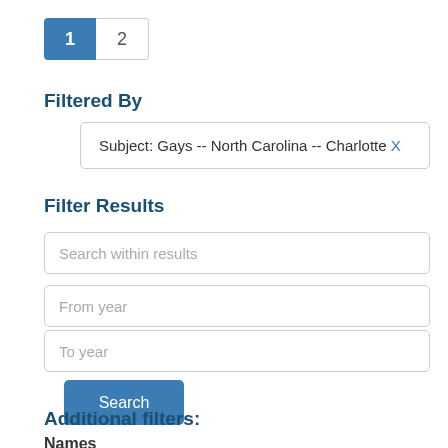1  2
Filtered By
Subject: Gays -- North Carolina -- Charlotte X
Filter Results
Search within results
From year
To year
Search
Additional filters:
Names